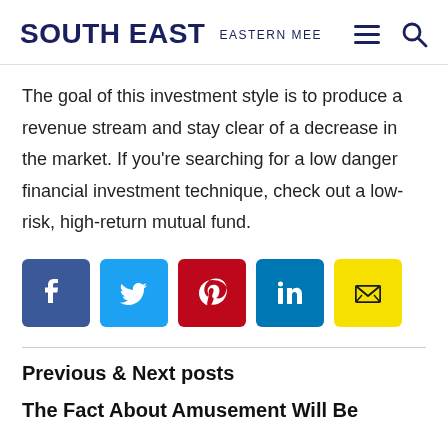SOUTH EAST  EASTERN MEE
The goal of this investment style is to produce a revenue stream and stay clear of a decrease in the market. If you're searching for a low danger financial investment technique, check out a low-risk, high-return mutual fund.
[Figure (infographic): Social media share buttons: Facebook (blue), Twitter (cyan), Pinterest (red), LinkedIn (blue), Email (yellow)]
Previous & Next posts
The Fact About Amusement Will Be